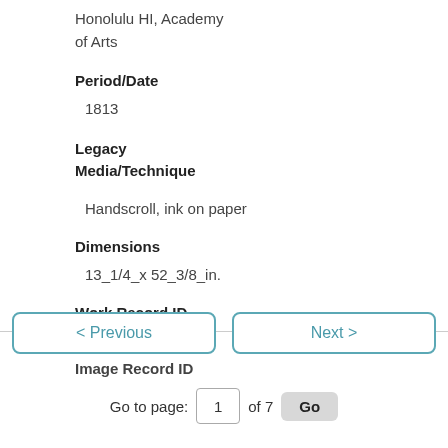Honolulu HI, Academy of Arts
Period/Date
1813
Legacy Media/Technique
Handscroll, ink on paper
Dimensions
13_1/4_x 52_3/8_in.
Work Record ID
166317
Image Record ID
< Previous   Next >   Go to page: 1 of 7 Go